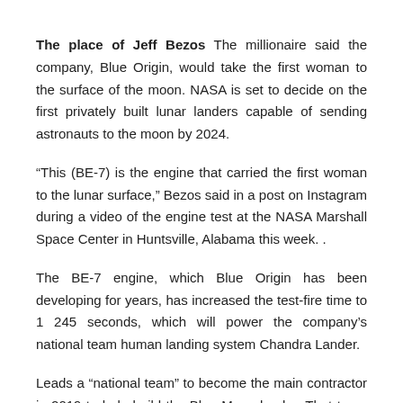The place of Jeff Bezos The millionaire said the company, Blue Origin, would take the first woman to the surface of the moon. NASA is set to decide on the first privately built lunar landers capable of sending astronauts to the moon by 2024.
“This (BE-7) is the engine that carried the first woman to the lunar surface,” Bezos said in a post on Instagram during a video of the engine test at the NASA Marshall Space Center in Huntsville, Alabama this week. .
The BE-7 engine, which Blue Origin has been developing for years, has increased the test-fire time to 1 245 seconds, which will power the company’s national team human landing system Chandra Lander.
Leads a “national team” to become the main contractor in 2019 to help build the Blue Moon lander. That team also includes Lockheed Martin, Nortrop Gruman and Draper.